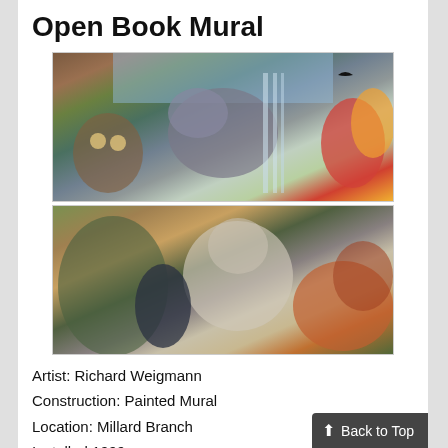Open Book Mural
[Figure (photo): Two photographs of the Open Book Mural showing colorful painted scenes with wildlife including a bison, owl, bear, tulip, and various natural elements.]
Artist: Richard Weigmann
Construction: Painted Mural
Location: Millard Branch
Installed 1999
Millard Branch's dedication to art continues inside the building!
Seward, Nebraska native Richard Weigm…